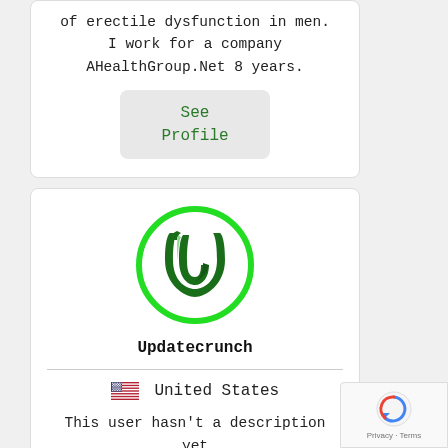of erectile dysfunction in men. I work for a company AHealthGroup.Net 8 years.
See Profile
[Figure (logo): Updatecrunch logo: a stylized letter U in dark green with swirl, inside a bright green circle outline]
Updatecrunch
🇺🇸 United States
This user hasn't a description yet